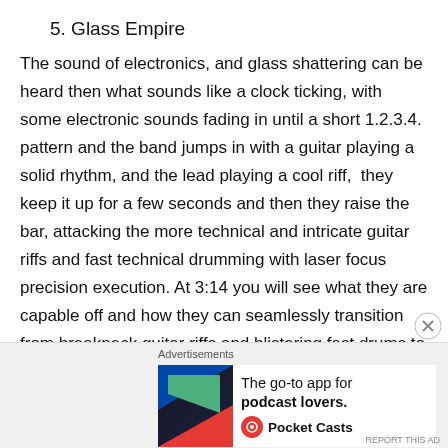5. Glass Empire
The sound of electronics, and glass shattering can be heard then what sounds like a clock ticking, with some electronic sounds fading in until a short 1.2.3.4. pattern and the band jumps in with a guitar playing a solid rhythm, and the lead playing a cool riff,  they keep it up for a few seconds and then they raise the bar, attacking the more technical and intricate guitar riffs and fast technical drumming with laser focus precision execution. At 3:14 you will see what they are capable off and how they can seamlessly transition from breakneck guitar riffs and blistering fast drums to a more relaxed instrumental groove. I like the way the end the song, it
[Figure (infographic): Pocket Casts advertisement banner: The go-to app for podcast lovers.]